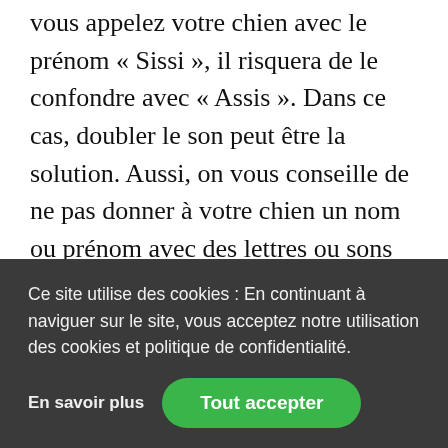vous appelez votre chien avec le prénom « Sissi », il risquera de le confondre avec « Assis ». Dans ce cas, doubler le son peut être la solution. Aussi, on vous conseille de ne pas donner à votre chien un nom ou prénom avec des lettres ou sons un peu inaudibles.
700+ noms de chiens commençant par
Ce site utilise des cookies : En continuant à naviguer sur le site, vous acceptez notre utilisation des cookies et politique de confidentialité.